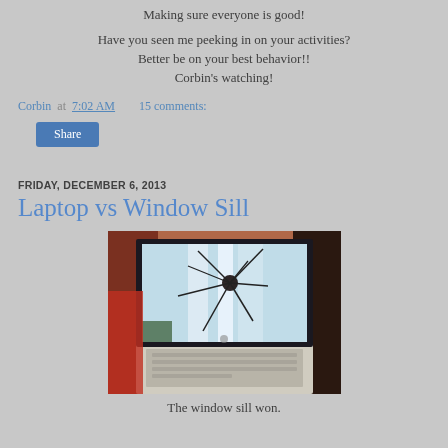Making sure everyone is good!
Have you seen me peeking in on your activities? Better be on your best behavior!! Corbin's watching!
Corbin at 7:02 AM   15 comments:
Share
FRIDAY, DECEMBER 6, 2013
Laptop vs Window Sill
[Figure (photo): A laptop with a cracked/shattered screen sitting on a surface]
The window sill won.